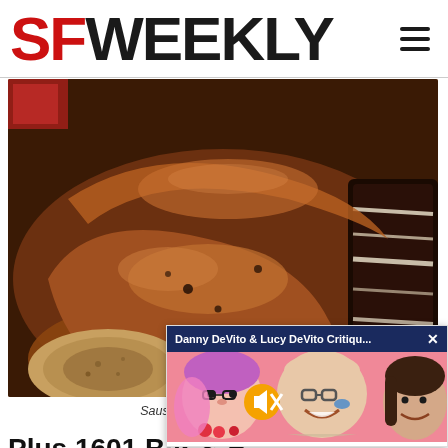SF WEEKLY
[Figure (photo): Close-up photo of sausage and tri-tip meat on a tray, showing grilled sausage links and sliced brisket with a dark crust]
Sausage and tri-t... Brewing. (
[Figure (screenshot): Ad overlay: Danny DeVito & Lucy DeVito Critiqu... with a video thumbnail showing cartoon and real people on a pink background, with mute button]
Plus 1601 Bar & B...